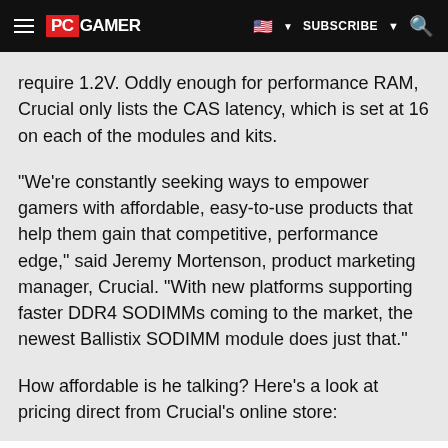PC GAMER  SUBSCRIBE
require 1.2V. Oddly enough for performance RAM, Crucial only lists the CAS latency, which is set at 16 on each of the modules and kits.
"We’re constantly seeking ways to empower gamers with affordable, easy-to-use products that help them gain that competitive, performance edge," said Jeremy Mortenson, product marketing manager, Crucial. "With new platforms supporting faster DDR4 SODIMMs coming to the market, the newest Ballistix SODIMM module does just that."
How affordable is he talking? Here’s a look at pricing direct from Crucial’s online store: